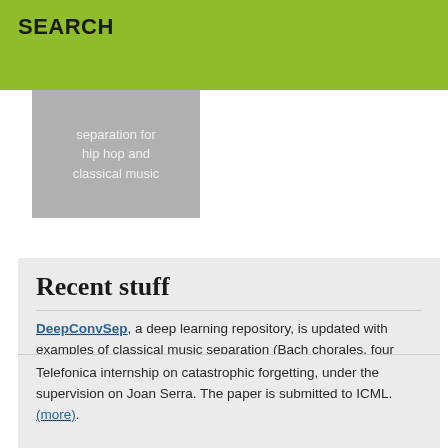SEARCH
separation for hip hop and classical music
Recent stuff
DeepConvSep, a deep learning repository, is updated with examples of classical music separation (Bach chorales, four instruments) and with a wrapper which queries RWC instruments sound database for samples.
Telefonica internship on catastrophic forgetting, under the supervision on Joan Serra. The paper is submitted to ICML. (more).